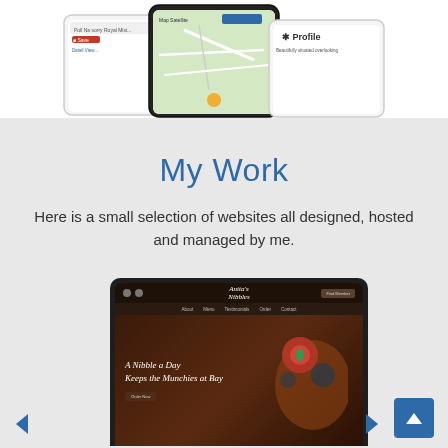[Figure (screenshot): Top portion showing app/website mockup screenshots on phone devices with map and profile views, white background]
My Work
Here is a small selection of websites all designed, hosted and managed by me.
[Figure (screenshot): Tablet mockup showing 'Anita's Nibbles' website with dark food background and text 'A Nibble a Day Keeps the Munchies at Bay'. Navigation arrows and scroll-up button visible.]